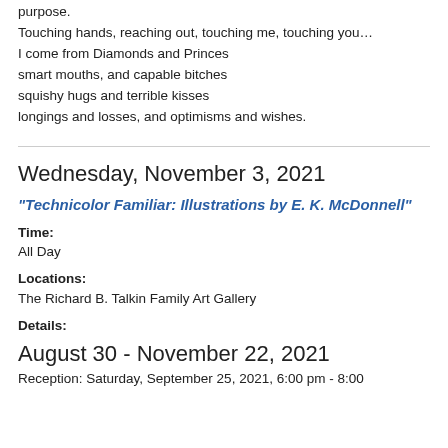purpose.
Touching hands, reaching out, touching me, touching you...
I come from Diamonds and Princes
smart mouths, and capable bitches
squishy hugs and terrible kisses
longings and losses, and optimisms and wishes.
Wednesday, November 3, 2021
"Technicolor Familiar: Illustrations by E. K. McDonnell"
Time:
All Day
Locations:
The Richard B. Talkin Family Art Gallery
Details:
August 30 - November 22, 2021
Reception: Saturday, September 25, 2021, 6:00 pm - 8:00